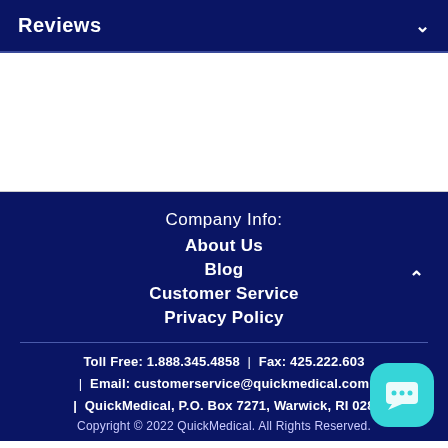Reviews
Company Info:
About Us
Blog
Customer Service
Privacy Policy
Toll Free: 1.888.345.4858 | Fax: 425.222.603 | Email: customerservice@quickmedical.com | QuickMedical, P.O. Box 7271, Warwick, RI 028... Copyright © 2022 QuickMedical. All Rights Reserved.